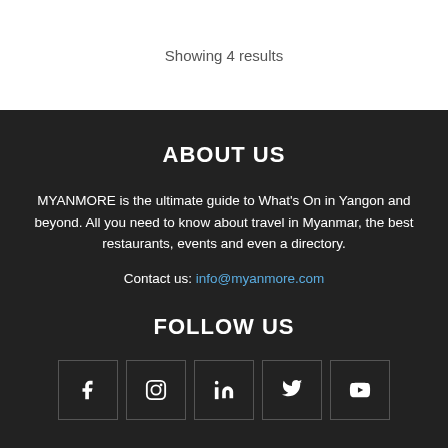Showing 4 results
ABOUT US
MYANMORE is the ultimate guide to What's On in Yangon and beyond. All you need to know about travel in Myanmar, the best restaurants, events and even a directory.
Contact us: info@myanmore.com
FOLLOW US
[Figure (infographic): Five social media icon buttons in square outlines: Facebook, Instagram, LinkedIn, Twitter, YouTube]